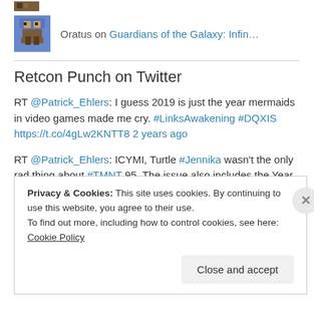[Figure (photo): Small pixel-art avatar thumbnail at top, partially cut off]
Oratus on Guardians of the Galaxy: Infin…
Retcon Punch on Twitter
RT @Patrick_Ehlers: I guess 2019 is just the year mermaids in video games made me cry. #LinksAwakening #DQXIS https://t.co/4gLw2KNTT8 2 years ago
RT @Patrick_Ehlers: ICYMI, Turtle #Jennika wasn't the only rad thing about #TMNT 95. The issue also includes the Year Three Oral History th… 3 years ago
Privacy & Cookies: This site uses cookies. By continuing to use this website, you agree to their use.
To find out more, including how to control cookies, see here: Cookie Policy